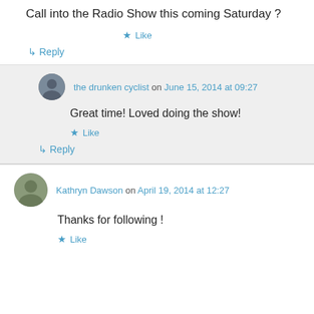Call into the Radio Show this coming Saturday ?
★ Like
↳ Reply
the drunken cyclist on June 15, 2014 at 09:27
Great time! Loved doing the show!
★ Like
↳ Reply
Kathryn Dawson on April 19, 2014 at 12:27
Thanks for following !
★ Like